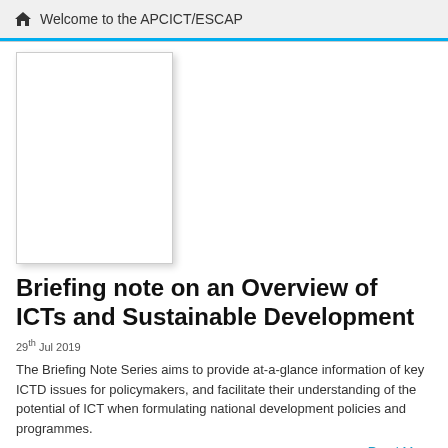Welcome to the APCICT/ESCAP
[Figure (illustration): White thumbnail/placeholder image box with drop shadow, representing a document cover image]
Briefing note on an Overview of ICTs and Sustainable Development
29th Jul 2019
The Briefing Note Series aims to provide at-a-glance information of key ICTD issues for policymakers, and facilitate their understanding of the potential of ICT when formulating national development policies and programmes.
Read More